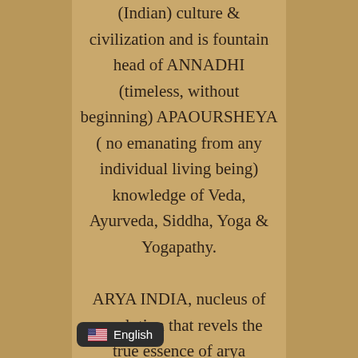(Indian) culture & civilization and is fountain head of ANNADHI (timeless, without beginning) APAOURSHEYA ( no emanating from any individual living being) knowledge of Veda, Ayurveda, Siddha, Yoga & Yogapathy.

ARYA INDIA, nucleus of revolution that revels the true essence of arya culture and Vedic civilization, over the decades, has been
🇺🇸 English